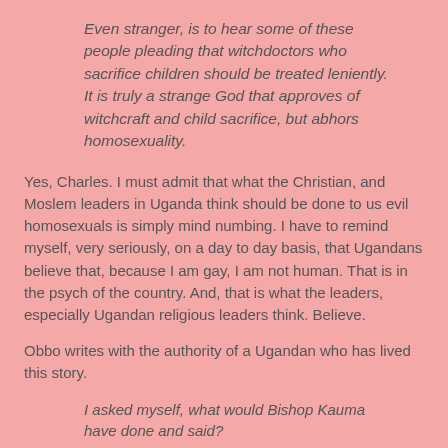Even stranger, is to hear some of these people pleading that witchdoctors who sacrifice children should be treated leniently. It is truly a strange God that approves of witchcraft and child sacrifice, but abhors homosexuality.
Yes, Charles. I must admit that what the Christian, and Moslem leaders in Uganda think should be done to us evil homosexuals is simply mind numbing. I have to remind myself, very seriously, on a day to day basis, that Ugandans believe that, because I am gay, I am not human. That is in the psych of the country. And, that is what the leaders, especially Ugandan religious leaders think. Believe.
Obbo writes with the authority of a Ugandan who has lived this story.
I asked myself, what would Bishop Kauma have done and said?
The best guide to what the good bishop might